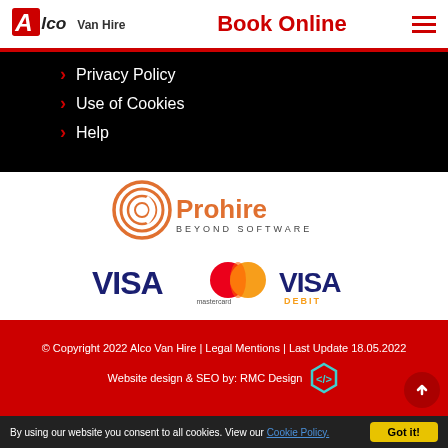Alco Van Hire — Book Online
Privacy Policy
Use of Cookies
Help
[Figure (logo): Prohire Beyond Software logo]
[Figure (logo): VISA, Mastercard, and VISA Debit payment logos]
© Copyright 2022 Alco Van Hire | Legal Mentions | Last Update 18.05.2022
Website design & SEO by: RMC Design
By using our website you consent to all cookies. View our Cookie Policy.